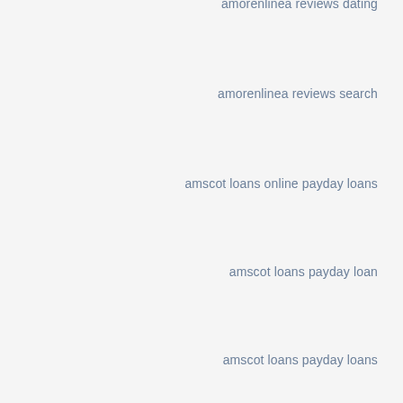amorenlinea reviews dating
amorenlinea reviews search
amscot loans online payday loans
amscot loans payday loan
amscot loans payday loans
amscot payday loans
anaheim-dating review
Anal Guys Web Cam Live
Anal Guys XXX
Anal Guys XXX Web Cams Chat Room